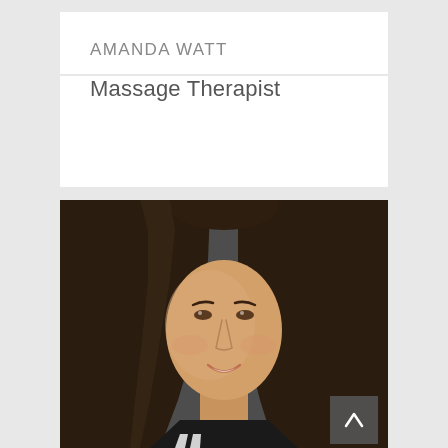AMANDA WATT
Massage Therapist
[Figure (photo): Professional headshot of Amanda Watt, a woman with long dark brown hair, smiling, wearing a black and white striped top, photographed against a dark grey background.]